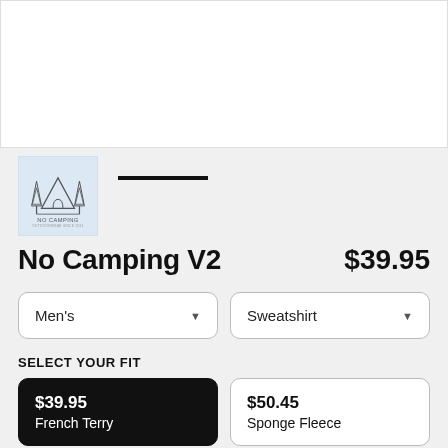[Figure (photo): White product image area (cropped top of page)]
[Figure (logo): No Camping logo thumbnail — tent/pine tree line drawing on light blue background with text NO CAMPING]
No Camping V2
$39.95
Men's
Sweatshirt
SELECT YOUR FIT
$39.95
French Terry
$50.45
Sponge Fleece